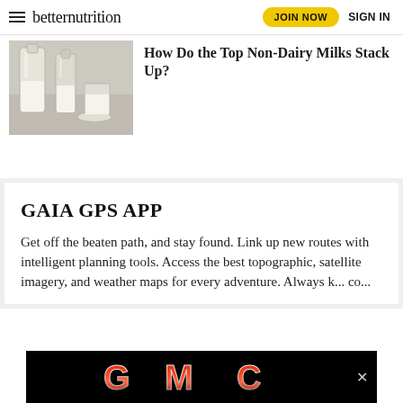betternutrition | JOIN NOW | SIGN IN
[Figure (photo): Photo of milk bottles and glasses with white milk on a light grey surface]
How Do the Top Non-Dairy Milks Stack Up?
GAIA GPS APP
Get off the beaten path, and stay found. Link up new routes with intelligent planning tools. Access the best topographic, satellite imagery, and weather maps for every adventure. Always k... co...
[Figure (logo): GMC logo on black background advertisement banner with close (x) button]